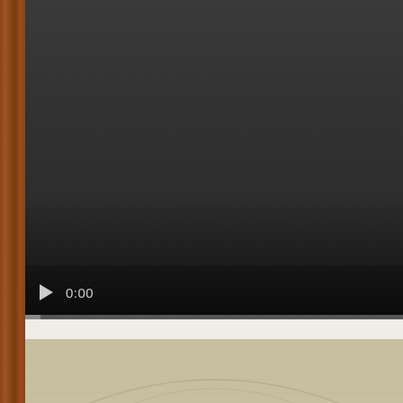[Figure (screenshot): A video player interface showing a dark/black video frame with playback controls at the bottom including a play button and time display showing 0:00, with a progress bar. A wood-grain border runs along the left side. Below the video player is the top portion of another image showing a beige/tan textured surface.]